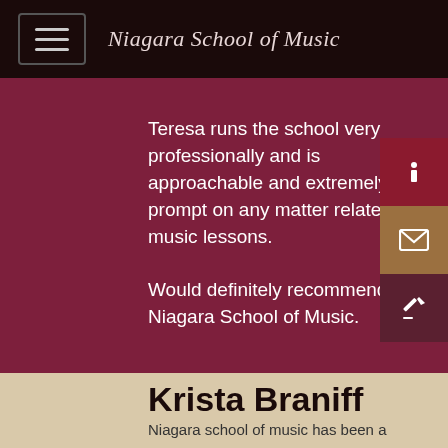Niagara School of Music
Teresa runs the school very professionally and is approachable and extremely prompt on any matter related to music lessons.

Would definitely recommend the Niagara School of Music.
Krista Braniff
Niagara school of music has been a